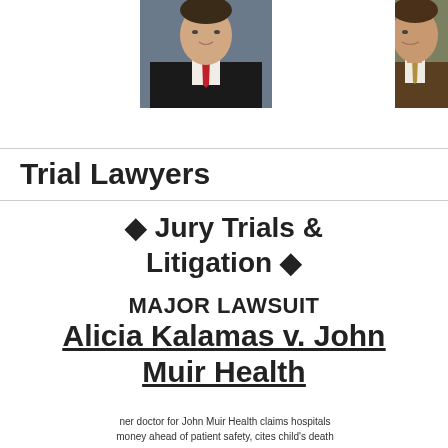[Figure (photo): Headshot of a man in a dark suit with a red tie, professional photo]
[Figure (photo): Partial headshot of a man in a brown suit with a tie, cropped on right edge]
Trial Lawyers
♦ Jury Trials & Litigation ♦
MAJOR LAWSUIT
Alicia Kalamas v. John Muir Health
ner doctor for John Muir Health claims hospitals money ahead of patient safety, cites child's death